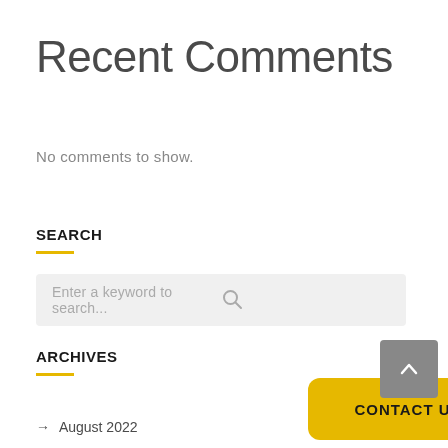Recent Comments
No comments to show.
SEARCH
Enter a keyword to search...
ARCHIVES
→ August 2022
CONTACT US